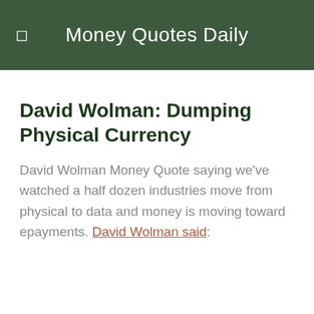Money Quotes Daily
David Wolman: Dumping Physical Currency
David Wolman Money Quote saying we've watched a half dozen industries move from physical to data and money is moving toward epayments. David Wolman said: